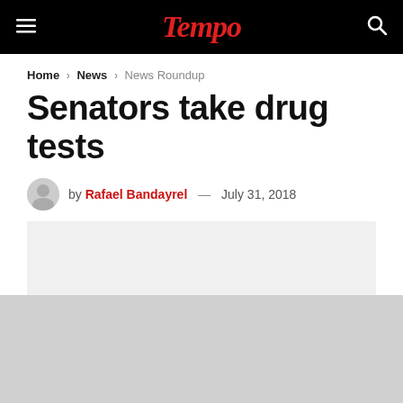Tempo
Home > News > News Roundup
Senators take drug tests
by Rafael Bandayrel — July 31, 2018
[Figure (photo): Article image placeholder, light gray rectangle]
[Figure (photo): Bottom gray area, advertisement or image placeholder]